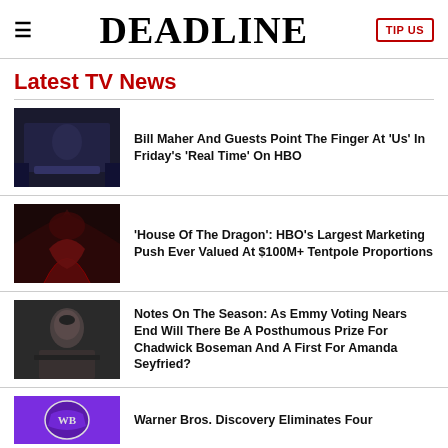≡ DEADLINE TIP US
Latest TV News
[Figure (photo): Bill Maher on stage in dark suit, TV show set background]
Bill Maher And Guests Point The Finger At 'Us' In Friday's 'Real Time' On HBO
[Figure (photo): House of the Dragon promotional image, dark red dragon wings]
'House Of The Dragon': HBO's Largest Marketing Push Ever Valued At $100M+ Tentpole Proportions
[Figure (photo): Chadwick Boseman portrait photo in dark jacket]
Notes On The Season: As Emmy Voting Nears End Will There Be A Posthumous Prize For Chadwick Boseman And A First For Amanda Seyfried?
[Figure (photo): Warner Bros. shield logo on purple background]
Warner Bros. Discovery Eliminates Four